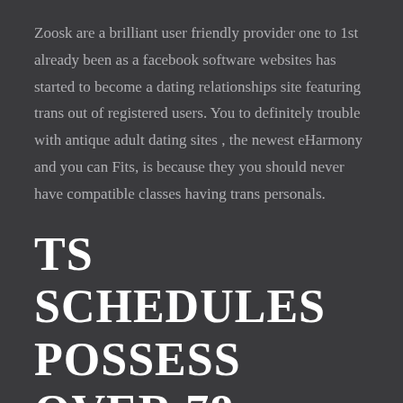Zoosk are a brilliant user friendly provider one to 1st already been as a facebook software websites has started to become a dating relationships site featuring trans out of registered users. You to definitely trouble with antique adult dating sites , the newest eHarmony and you can Fits, is because they you should never have compatible classes having trans personals.
TS SCHEDULES POSSESS OVER 78 DATINGMENTOR.ORG/IRAN REVIEW/ MILLION ^ PLAYERS AND SERVES